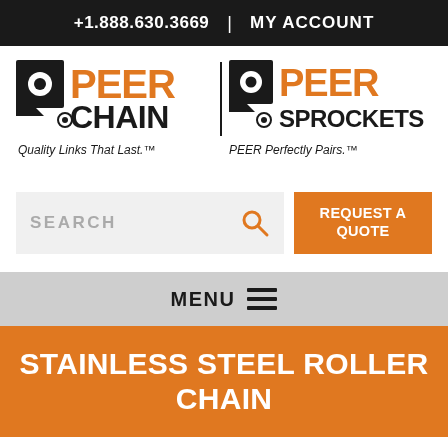+1.888.630.3669  |  MY ACCOUNT
[Figure (logo): Peer Chain and Peer Sprockets dual logo with taglines: 'Quality Links That Last.' and 'PEER Perfectly Pairs.']
SEARCH
REQUEST A QUOTE
MENU
STAINLESS STEEL ROLLER CHAIN